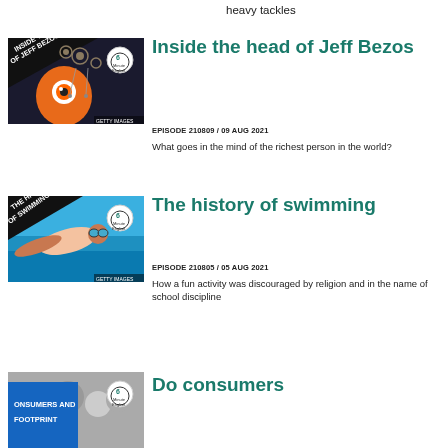heavy tackles
[Figure (illustration): Inside the Head of Jeff Bezos episode thumbnail – cartoon illustration of a head with gears, with '6 Minute English' logo and 'GETTY IMAGES' credit]
Inside the head of Jeff Bezos
EPISODE 210809 / 09 AUG 2021
What goes in the mind of the richest person in the world?
[Figure (photo): The History of Swimming episode thumbnail – photo of a child swimmer underwater with goggles, with '6 Minute English' logo and 'GETTY IMAGES' credit]
The history of swimming
EPISODE 210805 / 05 AUG 2021
How a fun activity was discouraged by religion and in the name of school discipline
[Figure (photo): Consumers and Footprint episode thumbnail – partially visible photo with blue banner text 'CONSUMERS AND FOOTPRINT' and '6 Minute English' logo]
Do consumers